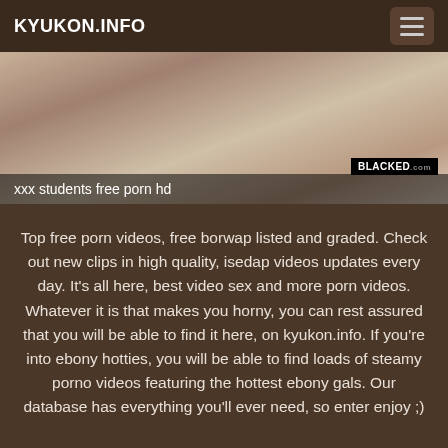KYUKON.INFO
[Figure (photo): Screenshot of a video thumbnail with BLACKED.com watermark]
xxx students free porn hd
Top free porn videos, free borwap listed and graded. Check out new clips in high quality, isedap videos updates every day. It's all here, best video sex and more porn videos. Whatever it is that makes you horny, you can rest assured that you will be able to find it here, on kyukon.info. If you're into ebony hotties, you will be able to find loads of steamy porno videos featuring the hottest ebony gals. Our database has everything you'll ever need, so enter enjoy ;)